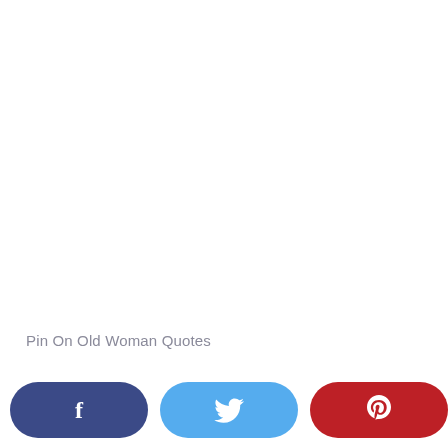Pin On Old Woman Quotes
[Figure (other): Social media share buttons: Facebook (dark blue), Twitter (light blue), Pinterest (red), each with respective icons]